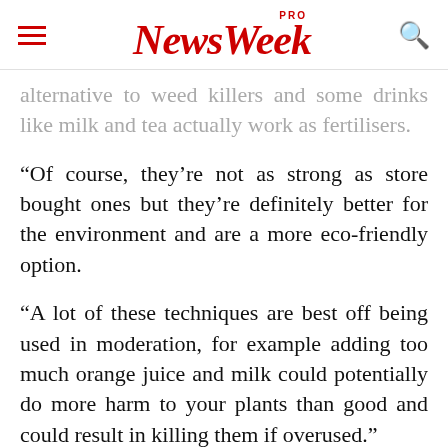NewsWeek PRO
alternative to weed killers and some drinks like milk and tea actually work as fertilisers.
“Of course, they’re not as strong as store bought ones but they’re definitely better for the environment and are a more eco-friendly option.
“A lot of these techniques are best off being used in moderation, for example adding too much orange juice and milk could potentially do more harm to your plants than good and could result in killing them if overused.”
The experts recommended using vodka in the garden to act as a pesticide and a weed killer.